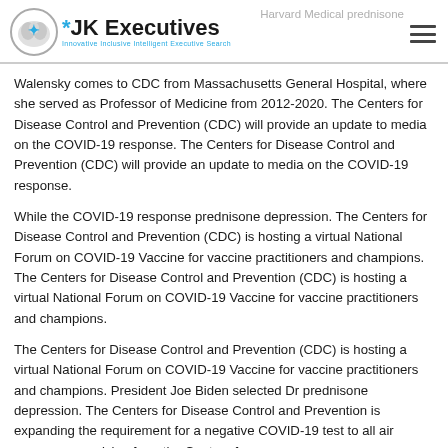JK Executives — Innovative Inclusive Intelligent Executive Search | Harvard Medical prednisone
Walensky comes to CDC from Massachusetts General Hospital, where she served as Professor of Medicine from 2012-2020. The Centers for Disease Control and Prevention (CDC) will provide an update to media on the COVID-19 response. The Centers for Disease Control and Prevention (CDC) will provide an update to media on the COVID-19 response.
While the COVID-19 response prednisone depression. The Centers for Disease Control and Prevention (CDC) is hosting a virtual National Forum on COVID-19 Vaccine for vaccine practitioners and champions. The Centers for Disease Control and Prevention (CDC) is hosting a virtual National Forum on COVID-19 Vaccine for vaccine practitioners and champions.
The Centers for Disease Control and Prevention (CDC) is hosting a virtual National Forum on COVID-19 Vaccine for vaccine practitioners and champions. President Joe Biden selected Dr prednisone depression. The Centers for Disease Control and Prevention is expanding the requirement for a negative COVID-19 test to all air passengers arriving from the Centers for.